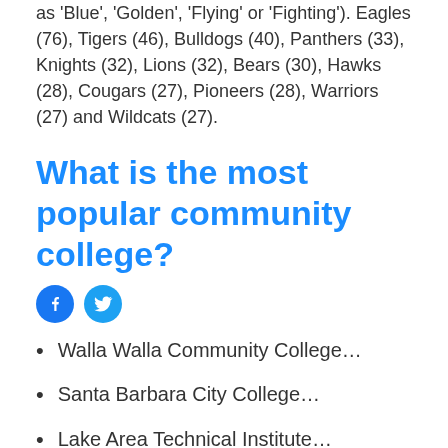as 'Blue', 'Golden', 'Flying' or 'Fighting'). Eagles (76), Tigers (46), Bulldogs (40), Panthers (33), Knights (32), Lions (32), Bears (30), Hawks (28), Cougars (27), Pioneers (28), Warriors (27) and Wildcats (27).
What is the most popular community college?
[Figure (other): Facebook and Twitter social media icon buttons]
Walla Walla Community College…
Santa Barbara City College…
Lake Area Technical Institute…
East San Gabriel Valley Regional Occupational Program & Technical Center…